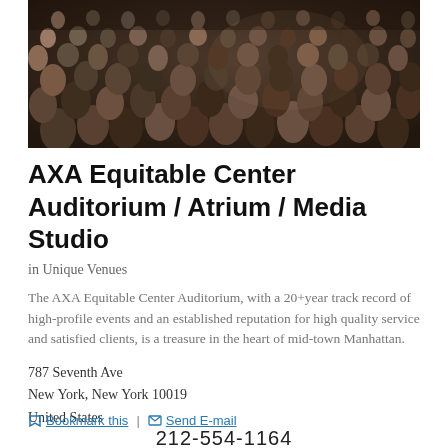[Figure (photo): Overhead view of a large crowd of people seated in an auditorium, photographed from behind and above. Mostly dark tones with many individuals visible.]
AXA Equitable Center Auditorium / Atrium / Media Studio
in Unique Venues
The AXA Equitable Center Auditorium, with a 20+year track record of high-profile events and an established reputation for high quality service and satisfied clients, is a treasure in the heart of mid-town Manhattan.
787 Seventh Ave
New York, New York 10019
United States
Bookmark this  |  Send E-mail
212-554-1164